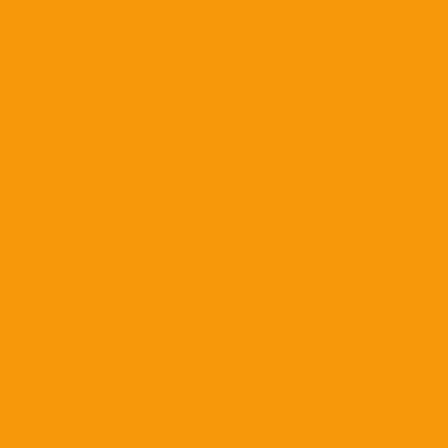Im not talking bout missles o... of government "control" do g...
But thats the issue making it...
Look what this guy did.
He was completely determine...
You can get many means of r...
I understand the logic on bot...
Neither side will address the ... accomplished is that I a peac... the tools I need to defend my...
Ban slide fire, limit clip size ,
We are still in the same boat.
Posted by: TruCane81 | October 0...
[Figure (illustration): Green geometric mosaic avatar image]
Please fellas, let's keep it on... about our boys ending this sk...
Posted by: UMike | October 0...